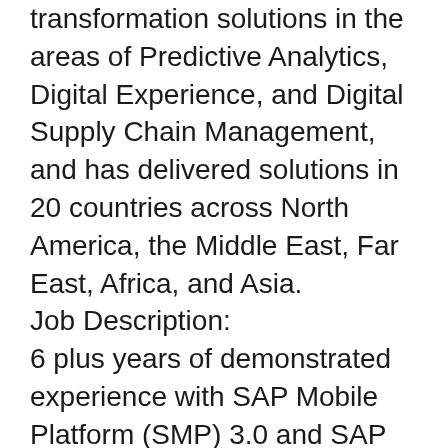transformation solutions in the areas of Predictive Analytics, Digital Experience, and Digital Supply Chain Management, and has delivered solutions in 20 countries across North America, the Middle East, Far East, Africa, and Asia.
Job Description:
6 plus years of demonstrated experience with SAP Mobile Platform (SMP) 3.0 and SAP Mobile Solutions.
Excellent understanding of mobile technologies, with direct experience in SAP (Syclo) Agentry-based applications: Work Manager, Inventory Manager, Service Manager, and/or Rounds.
Previous coursework and certifications related to opening (e.g., Agentry certification).
Understands and follows project and software development methodologies and processes,